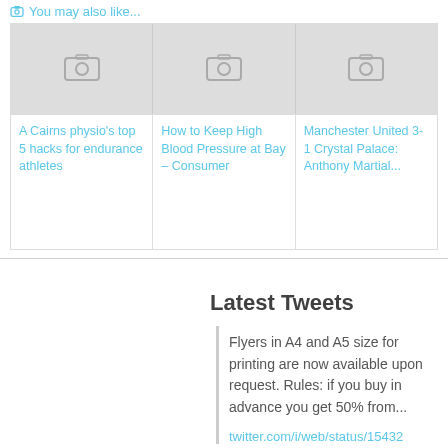You may also like...
[Figure (screenshot): Three placeholder image cards with camera icons in a grid layout]
A Cairns physio's top 5 hacks for endurance athletes
How to Keep High Blood Pressure at Bay – Consumer
Manchester United 3-1 Crystal Palace: Anthony Martial...
Latest Tweets
Flyers in A4 and A5 size for printing are now available upon request. Rules: if you buy in advance you get 50% from...
twitter.com/i/web/status/15432